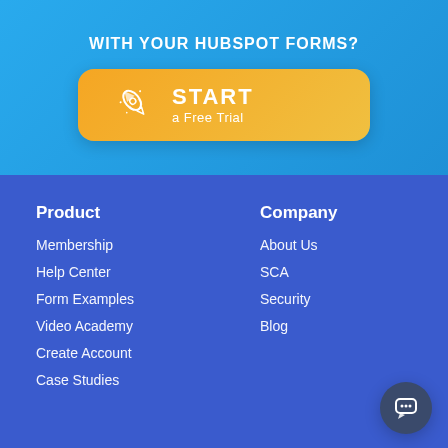WITH YOUR HUBSPOT FORMS?
[Figure (illustration): Orange gradient CTA button with rocket icon, text START a Free Trial]
Product
Company
Membership
About Us
Help Center
SCA
Form Examples
Security
Video Academy
Blog
Create Account
Case Studies